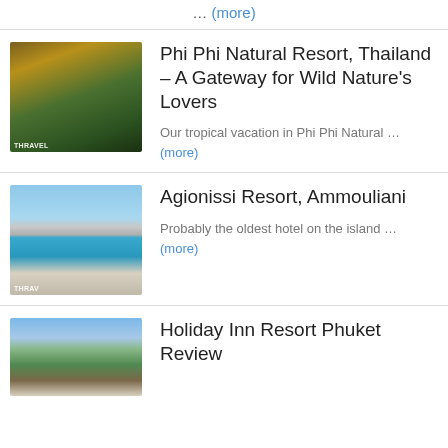… (more)
[Figure (photo): Interior of Phi Phi Natural Resort with wooden architecture, yellow chairs and tropical greenery]
Phi Phi Natural Resort, Thailand – A Gateway for Wild Nature's Lovers
Our tropical vacation in Phi Phi Natural … (more)
[Figure (photo): Agionissi Resort pool area with blue and white buildings, sun umbrellas and clear blue sky]
Agionissi Resort, Ammouliani
Probably the oldest hotel on the island … (more)
[Figure (photo): Holiday Inn Resort Phuket exterior with palm trees and blue sky]
Holiday Inn Resort Phuket Review